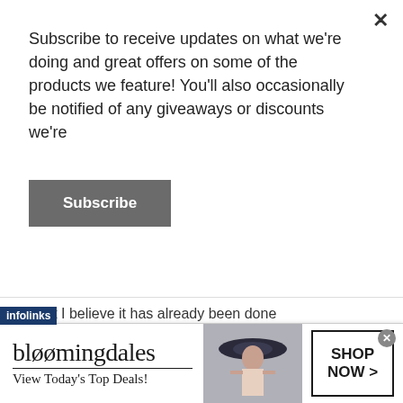Subscribe to receive updates on what we're doing and great offers on some of the products we feature! You'll also occasionally be notified of any giveaways or discounts we're
Subscribe
October 27, 2019 at 12:01 am
Good evening Tony, my brother this is my feelings, it has been going on for a lot longer then they are telling us, in fact I believe they have come much farther than they are telling
In fact I believe it has already been done
[Figure (screenshot): Bloomingdales advertisement banner: logo with 'bloomingdales', tagline 'View Today's Top Deals!', woman with wide-brim hat, and 'SHOP NOW >' call to action button]